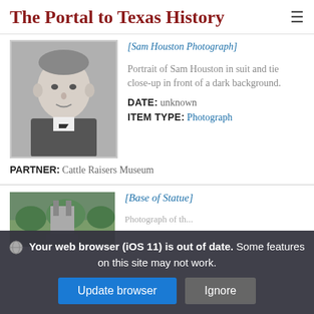The Portal to Texas History
[Figure (photo): Black and white portrait photograph of Sam Houston in suit and tie, close-up in front of a dark background.]
[Sam Houston Photograph]
Portrait of Sam Houston in suit and tie close-up in front of a dark background.
DATE: unknown
ITEM TYPE: Photograph
PARTNER: Cattle Raisers Museum
[Figure (photo): Outdoor photograph showing base of a statue, green trees in background.]
[Base of Statue]
Your web browser (iOS 11) is out of date. Some features on this site may not work.